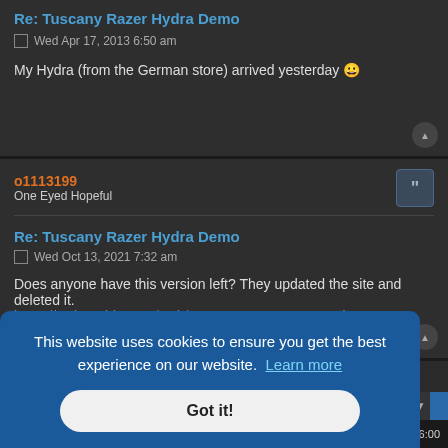Re: Tuscany Razer Hydra Demo
Wed Apr 17, 2013 6:50 am
My Hydra (from the German store) arrived yesterday 😀
o1113199
One Eyed Hopeful
Re: Tuscany Razer Hydra Demo
Wed Oct 13, 2021 7:32 am
Does anyone have this version left? They updated the site and deleted it.
https://web.archive.org/web/20151102153 ... uscanydemo
This website uses cookies to ensure you get the best experience on our website. Learn more
Got it!
Acktech by ST Software Updated for phpBB3.3 by Ian Bradley